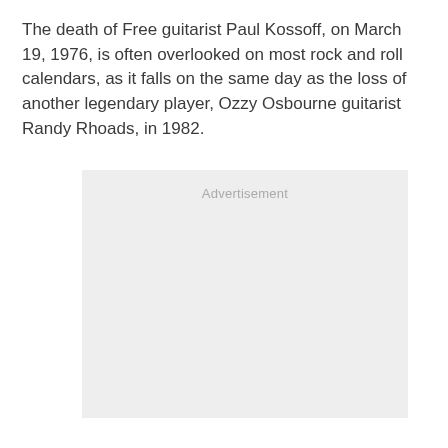The death of Free guitarist Paul Kossoff, on March 19, 1976, is often overlooked on most rock and roll calendars, as it falls on the same day as the loss of another legendary player, Ozzy Osbourne guitarist Randy Rhoads, in 1982.
[Figure (other): Advertisement placeholder box with light grey background and the word 'Advertisement' centered at the top.]